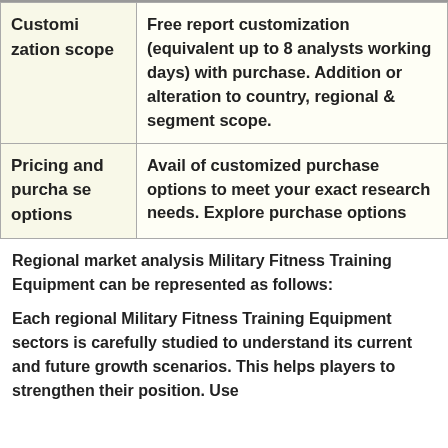|  |  |
| --- | --- |
| Customization scope | Free report customization (equivalent up to 8 analysts working days) with purchase. Addition or alteration to country, regional & segment scope. |
| Pricing and purchase options | Avail of customized purchase options to meet your exact research needs. Explore purchase options |
Regional market analysis Military Fitness Training Equipment can be represented as follows:
Each regional Military Fitness Training Equipment sectors is carefully studied to understand its current and future growth scenarios. This helps players to strengthen their position. Use